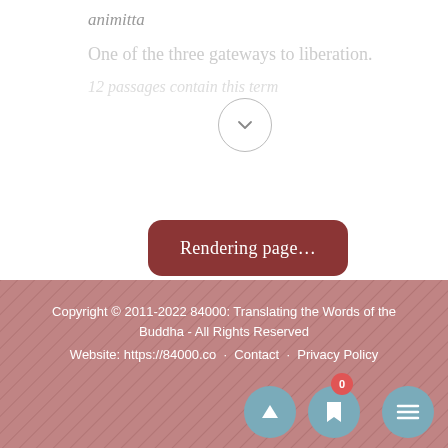animitta
One of the three gateways to liberation.
12 passages contain this term
[Figure (other): Circular chevron/down-arrow button (expand control)]
Rendering page...
Copyright © 2011-2022 84000: Translating the Words of the Buddha - All Rights Reserved
Website: https://84000.co · Contact · Privacy Policy